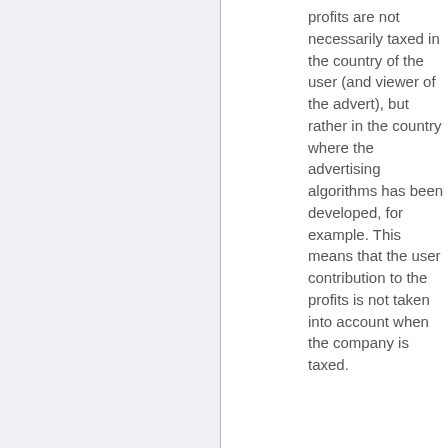profits are not necessarily taxed in the country of the user (and viewer of the advert), but rather in the country where the advertising algorithms has been developed, for example. This means that the user contribution to the profits is not taken into account when the company is taxed.